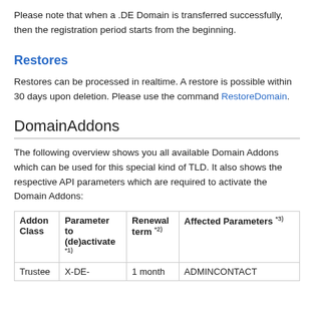Please note that when a .DE Domain is transferred successfully, then the registration period starts from the beginning.
Restores
Restores can be processed in realtime. A restore is possible within 30 days upon deletion. Please use the command RestoreDomain.
DomainAddons
The following overview shows you all available Domain Addons which can be used for this special kind of TLD. It also shows the respective API parameters which are required to activate the Domain Addons:
| Addon Class | Parameter to (de)activate *1) | Renewal term *2) | Affected Parameters *3) |
| --- | --- | --- | --- |
| Trustee | X-DE- | 1 month | ADMINCONTACT |